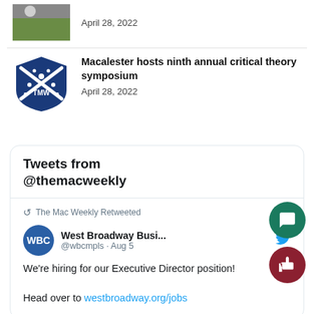[Figure (photo): Partial thumbnail of an article image at top]
April 28, 2022
[Figure (logo): The Mac Weekly TMW shield logo]
Macalester hosts ninth annual critical theory symposium
April 28, 2022
[Figure (screenshot): Tweets from @themacweekly widget showing a West Broadway Business (WBC) tweet: We're hiring for our Executive Director position! Head over to westbroadway.org/jobs]
Tweets from @themacweekly
The Mac Weekly Retweeted
West Broadway Busi... @wbcmpls · Aug 5
We're hiring for our Executive Director position!

Head over to westbroadway.org/jobs